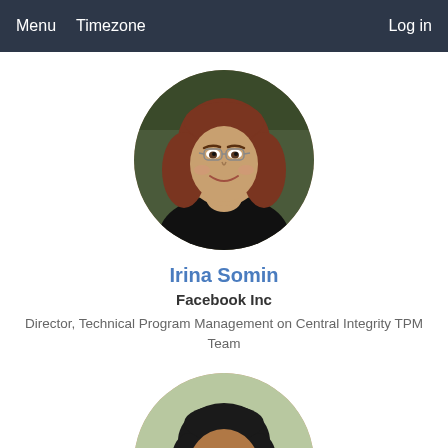Menu  Timezone  Log in
[Figure (photo): Circular profile photo of Irina Somin, a woman with reddish-brown hair and glasses, wearing a black top, against a dark green background.]
Irina Somin
Facebook Inc
Director, Technical Program Management on Central Integrity TPM Team
[Figure (photo): Circular profile photo of a second person, a woman with dark hair, partially visible, against a light background.]